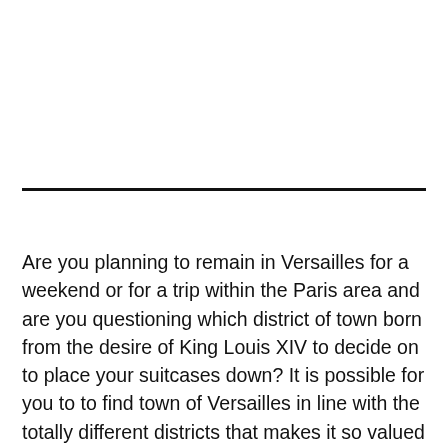Are you planning to remain in Versailles for a weekend or for a trip within the Paris area and are you questioning which district of town born from the desire of King Louis XIV to decide on to place your suitcases down? It is possible for you to to find town of Versailles in line with the totally different districts that makes it so valued at the